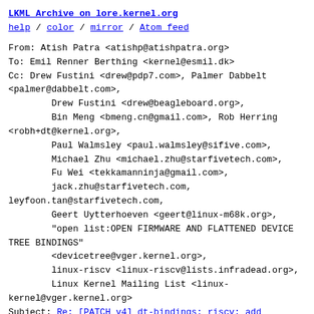LKML Archive on lore.kernel.org
help / color / mirror / Atom feed
From: Atish Patra <atishp@atishpatra.org>
To: Emil Renner Berthing <kernel@esmil.dk>
Cc: Drew Fustini <drew@pdp7.com>, Palmer Dabbelt <palmer@dabbelt.com>,
        Drew Fustini <drew@beagleboard.org>,
        Bin Meng <bmeng.cn@gmail.com>, Rob Herring <robh+dt@kernel.org>,
        Paul Walmsley <paul.walmsley@sifive.com>,
        Michael Zhu <michael.zhu@starfivetech.com>,
        Fu Wei <tekkamanninja@gmail.com>,
        jack.zhu@starfivetech.com,
leyfoon.tan@starfivetech.com,
        Geert Uytterhoeven <geert@linux-m68k.org>,
        "open list:OPEN FIRMWARE AND FLATTENED DEVICE TREE BINDINGS"
        <devicetree@vger.kernel.org>,
        linux-riscv <linux-riscv@lists.infradead.org>,
        Linux Kernel Mailing List <linux-kernel@vger.kernel.org>
Subject: Re: [PATCH v4] dt-bindings: riscv: add starfive jh7100 bindings
Date: Thu, 5 Aug 2021 11:09:36 -0700    [thread overview]
Message-ID: <CAOnJCU+-orqjP5dND0QNh+08UhXitS=LPpg1VpnBcp=6YJU7EQ@mail.gmail.com
(raw)
In-Reply-To: <CANBLGcwczRsc...